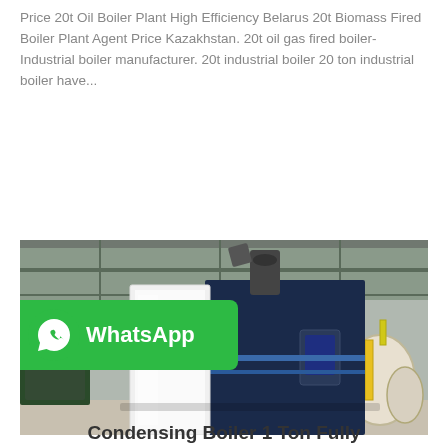Price 20t Oil Boiler Plant High Efficiency Belarus 20t Biomass Fired Boiler Plant Agent Price Kazakhstan. 20t oil gas fired boiler-Industrial boiler manufacturer. 20t industrial boiler 20 ton industrial boiler have...
Get Price
[Figure (photo): Industrial condensing boiler unit in a factory/warehouse setting. Large white and navy blue rectangular boiler equipment with pipes and industrial fittings visible in the background.]
[Figure (logo): WhatsApp logo and text bar - green background with WhatsApp icon and 'WhatsApp' text in white bold font]
Condensing Boiler 1 Ton Fully